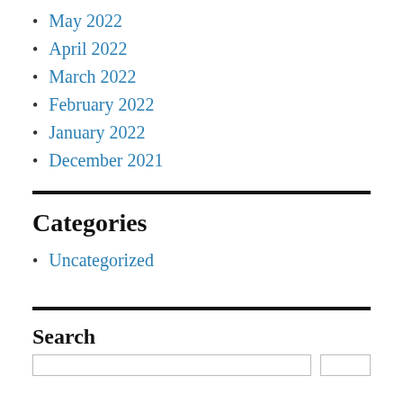May 2022
April 2022
March 2022
February 2022
January 2022
December 2021
Categories
Uncategorized
Search